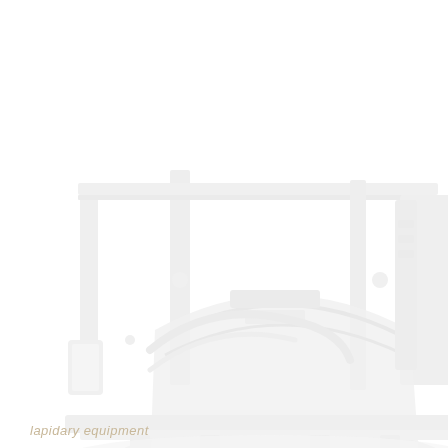[Figure (illustration): A very faint, washed-out photograph or illustration of heavy industrial/laboratory equipment — appears to show large machinery with structural frames, tanks, and piping, rendered in extremely light gray/white tones against a white background.]
lapidary equipment